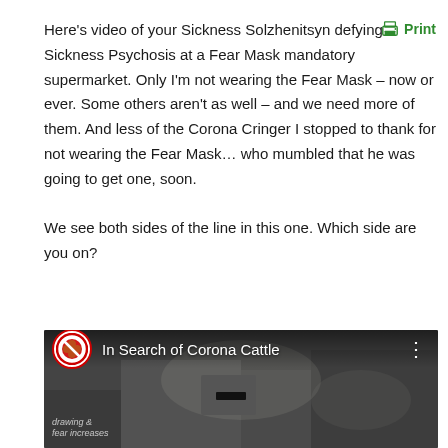Here's video of your Sickness Solzhenitsyn defying Sickness Psychosis at a Fear Mask mandatory supermarket. Only I'm not wearing the Fear Mask – now or ever. Some others aren't as well – and we need more of them. And less of the Corona Cringer I stopped to thank for not wearing the Fear Mask... who mumbled that he was going to get one, soon.

We see both sides of the line in this one. Which side are you on?
[Figure (screenshot): Video thumbnail showing 'In Search of Corona Cattle' with a circular badge logo on the left, white title text, and a three-dot menu on the right, over a blurred supermarket background image.]